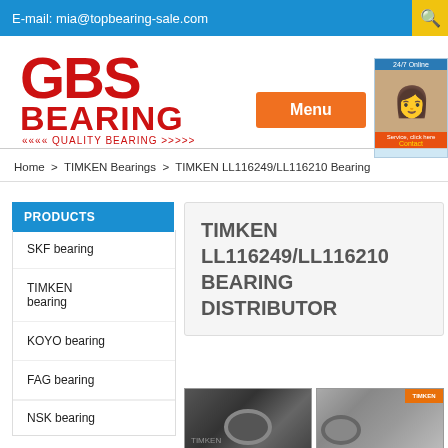E-mail: mia@topbearing-sale.com
[Figure (logo): GBS Bearing logo with red stylized letters and tagline QUALITY BEARING]
Menu
Home > TIMKEN Bearings > TIMKEN LL116249/LL116210 Bearing
PRODUCTS
SKF bearing
TIMKEN bearing
KOYO bearing
FAG bearing
TIMKEN LL116249/LL116210 BEARING DISTRIBUTOR
[Figure (photo): Two product photos showing TIMKEN LL116249/LL116210 bearing components]